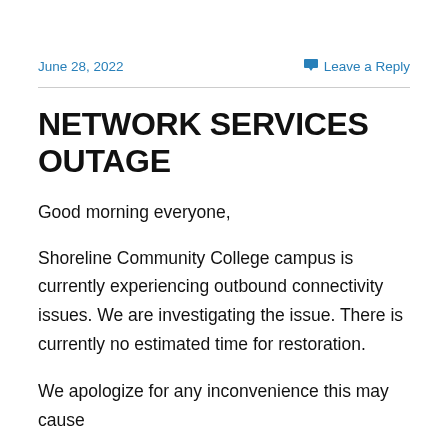June 28, 2022
Leave a Reply
NETWORK SERVICES OUTAGE
Good morning everyone,
Shoreline Community College campus is currently experiencing outbound connectivity issues. We are investigating the issue. There is currently no estimated time for restoration.
We apologize for any inconvenience this may cause